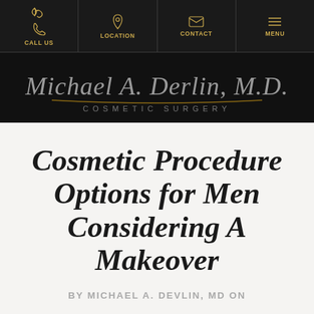CALL US | LOCATION | CONTACT | MENU
[Figure (logo): Michael A. Devlin, M.D. Cosmetic Surgery logo on black background with cursive signature text and underline]
Cosmetic Procedure Options for Men Considering A Makeover
BY MICHAEL A. DEVLIN, MD ON